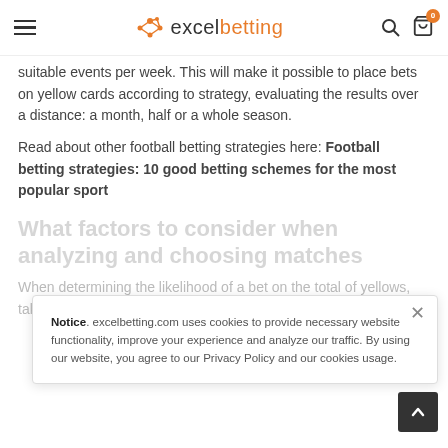excelbetting — navigation header with hamburger menu, logo, search and cart icons
suitable events per week. This will make it possible to place bets on yellow cards according to strategy, evaluating the results over a distance: a month, half or a whole season.
Read about other football betting strategies here: Football betting strategies: 10 good betting schemes for the most popular sport
What factors to consider when analyzing and choosing matches
When determining the likelihood of a bet on the total of yellows, take into account the following criteria:
Notice. excelbetting.com uses cookies to provide necessary website functionality, improve your experience and analyze our traffic. By using our website, you agree to our Privacy Policy and our cookies usage.